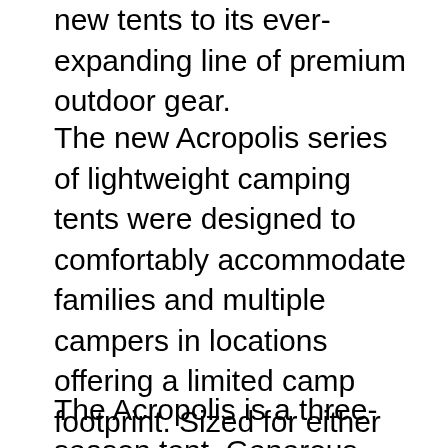new tents to its ever-expanding line of premium outdoor gear.
The new Acropolis series of lightweight camping tents were designed to comfortably accommodate families and multiple campers in locations offering a limited camp footprint. Sized for either three or four adults, the Acropolis utilizes a free-standing pre-bent pole system with a top cross pole that creates more expansive interior space than conventional dome tents. Further contributing to camper comfort are dual doors with spacious vestibules to protect gear while ensuring ample room for occupants.
The Acropolis is a three-season tent. Generous mesh walls provide warm-weather sleeping